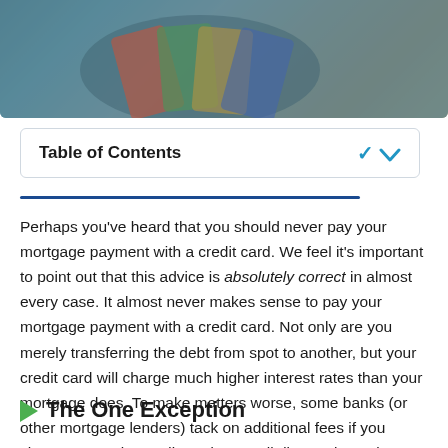[Figure (photo): Photograph of a person holding multiple credit cards, blurred background]
Table of Contents
Perhaps you've heard that you should never pay your mortgage payment with a credit card. We feel it's important to point out that this advice is absolutely correct in almost every case. It almost never makes sense to pay your mortgage payment with a credit card. Not only are you merely transferring the debt from spot to another, but your credit card will charge much higher interest rates than your mortgage does. To make matters worse, some banks (or other mortgage lenders) tack on additional fees if you choose to pay by credit card. As we'll discuss in a minute, these fees are almost never worth paying.
The One Exception